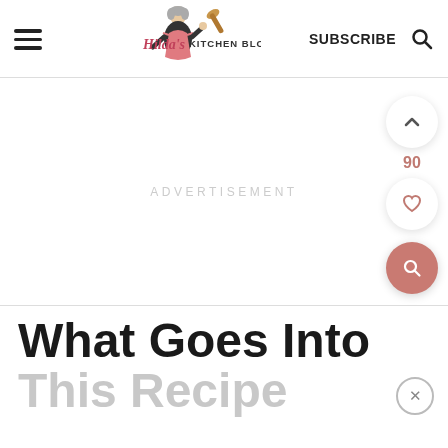Hilda's Kitchen Blog | SUBSCRIBE
[Figure (other): Gray advertisement placeholder area with 'ADVERTISEMENT' text in light gray]
What Goes Into This Recipe